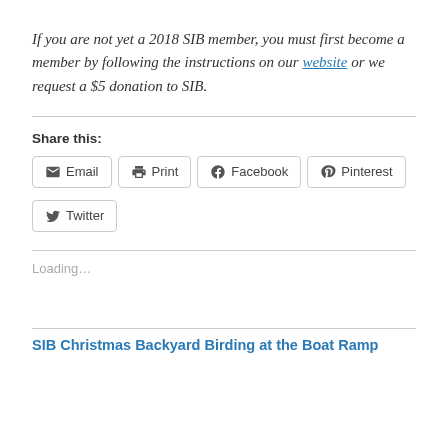If you are not yet a 2018 SIB member, you must first become a member by following the instructions on our website or we request a $5 donation to SIB.
Share this:
Email | Print | Facebook | Pinterest | Twitter
Loading...
SIB Christmas Backyard Birding at the Boat Ramp